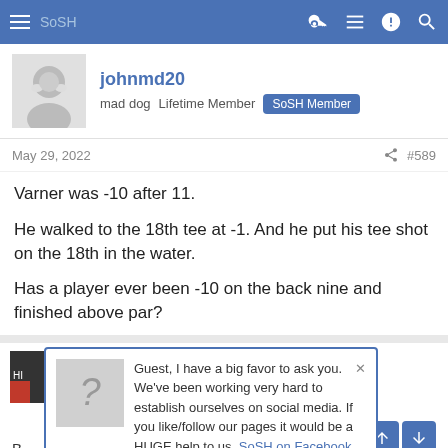SoSH
johnmd20
mad dog  Lifetime Member  SoSH Member
May 29, 2022  #589
Varner was -10 after 11.

He walked to the 18th tee at -1. And he put his tee shot on the 18th in the water.

Has a player ever been -10 on the back nine and finished above par?
Guest, I have a big favor to ask you. We've been working very hard to establish ourselves on social media. If you like/follow our pages it would be a HUGE help to us. SoSH on Facebook and Inside the Pylon Thanks! Nip
#590